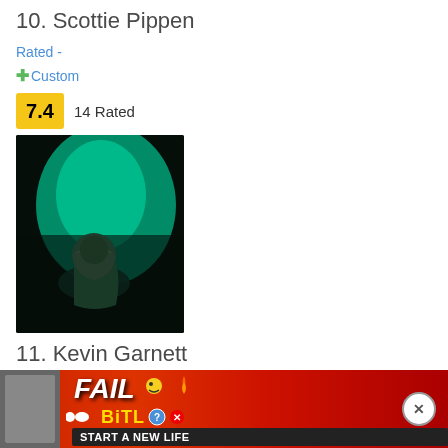10. Scottie Pippen
Rated -
+ Custom
7.4   14 Rated
[Figure (photo): Dark photo of a person bowing head with teal/green smoke or light in background]
11. Kevin Garnett
Rated -
+ Custom
7.3   13 Rated
[Figure (screenshot): BitLife advertisement banner at bottom of page with FAIL text and game imagery]